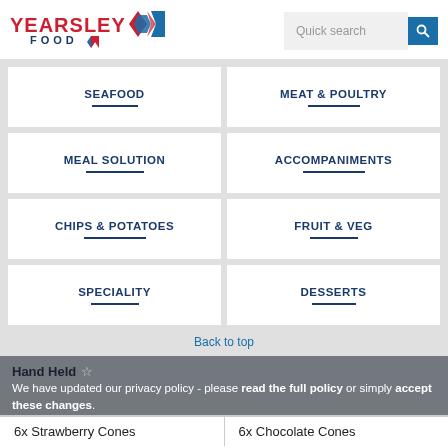[Figure (logo): Yearsley Food logo with red text and diamond shapes]
Quick search
SEAFOOD
MEAT & POULTRY
MEAL SOLUTION
ACCOMPANIMENTS
CHIPS & POTATOES
FRUIT & VEG
SPECIALITY
DESSERTS
Back to top
Hand Held ☆
We have updated our privacy policy - please read the full policy or simply accept these changes.
6x Strawberry Cones
6x Chocolate Cones